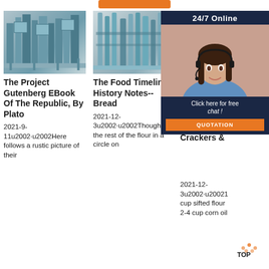[Figure (other): Orange button/banner at top center]
[Figure (photo): Industrial flour milling machine, first column]
[Figure (photo): Industrial flour milling machine, second column]
[Figure (photo): Third column: construction crane background with 24/7 Online chat overlay card showing a woman with headset, Click here for free chat text, and QUOTATION button]
The Project Gutenberg EBook Of The Republic, By Plato
The Food Timeline: History Notes-- Bread
The Food Timeline: History Notes-- Crackers &
2021-9-11u2002·u2002Here follows a rustic picture of their
2021-12-3u2002·u2002Though: Put the rest of the flour in a circle on
2021-12-3u2002·u20021 cup sifted flour 2-4 cup corn oil